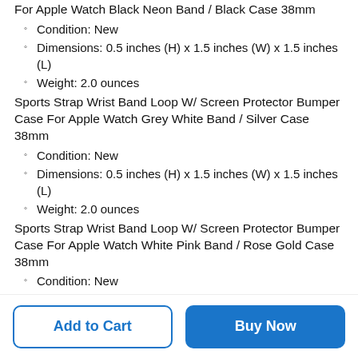For Apple Watch Black Neon Band / Black Case 38mm
Condition: New
Dimensions: 0.5 inches (H) x 1.5 inches (W) x 1.5 inches (L)
Weight: 2.0 ounces
Sports Strap Wrist Band Loop W/ Screen Protector Bumper Case For Apple Watch Grey White Band / Silver Case 38mm
Condition: New
Dimensions: 0.5 inches (H) x 1.5 inches (W) x 1.5 inches (L)
Weight: 2.0 ounces
Sports Strap Wrist Band Loop W/ Screen Protector Bumper Case For Apple Watch White Pink Band / Rose Gold Case 38mm
Condition: New
Dimensions: 0.5 inches (H) x 1.5 inches (W) x 1.5 inches (L)
Weight: 2.0 ounces
Sports Strap Wrist Band Loop W/ Screen Protector Bumper Case